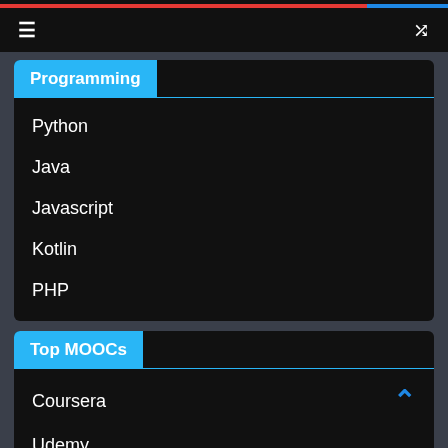≡  ⇌
Programming
Python
Java
Javascript
Kotlin
PHP
Top MOOCs
Coursera
Udemy